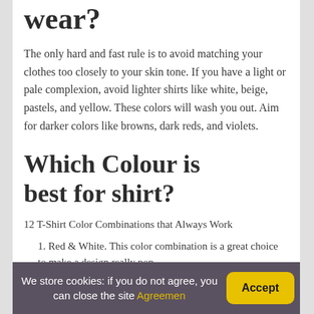wear?
The only hard and fast rule is to avoid matching your clothes too closely to your skin tone. If you have a light or pale complexion, avoid lighter shirts like white, beige, pastels, and yellow. These colors will wash you out. Aim for darker colors like browns, dark reds, and violets.
Which Colour is best for shirt?
12 T-Shirt Color Combinations that Always Work
1. Red & White. This color combination is a great choice to make a design really pop.
We store cookies: if you do not agree, you can close the site Agreemen